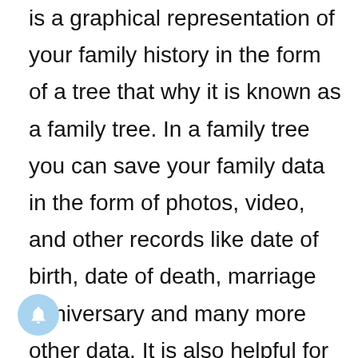is a graphical representation of your family history in the form of a tree that why it is known as a family tree. In a family tree you can save your family data in the form of photos, video, and other records like date of birth, date of death, marriage anniversary and many more other data. It is also helpful for children to increasing interest to know more about their ancestors.